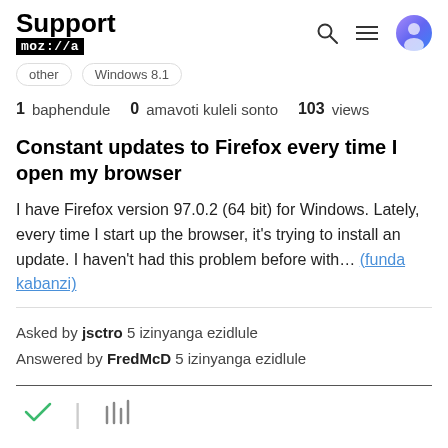Support moz://a
Other   Windows 8.1
1 baphendule   0 amavoti kuleli sonto   103 views
Constant updates to Firefox every time I open my browser
I have Firefox version 97.0.2 (64 bit) for Windows. Lately, every time I start up the browser, it's trying to install an update. I haven't had this problem before with... (funda kabanzi)
Asked by jsctro 5 izinyanga ezidlule
Answered by FredMcD 5 izinyanga ezidlule